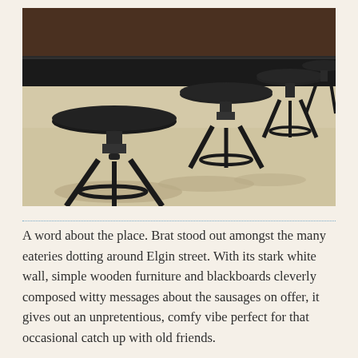[Figure (photo): Interior photo of a café or restaurant showing a row of black industrial-style bar stools lined up against a dark countertop along the wall. The stools have round dark seats, adjustable screw-style pedestals, and circular footrests. The floor is light-colored concrete or wood. The background shows a warm wooden wall panel.]
A word about the place. Brat stood out amongst the many eateries dotting around Elgin street. With its stark white wall, simple wooden furniture and blackboards cleverly composed witty messages about the sausages on offer, it gives out an unpretentious, comfy vibe perfect for that occasional catch up with old friends.